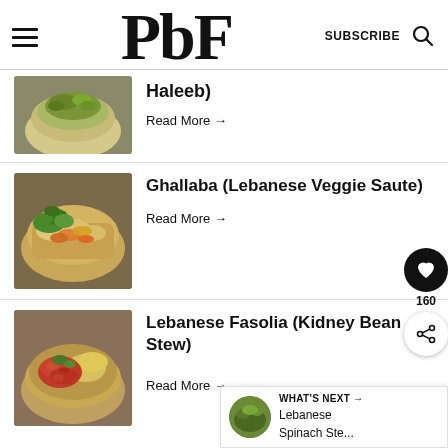PbF — SUBSCRIBE
Haleeb)
Read More →
Ghallaba (Lebanese Veggie Saute)
Read More →
Lebanese Fasolia (Kidney Bean Stew)
Read More →
WHAT'S NEXT → Lebanese Spinach Ste...